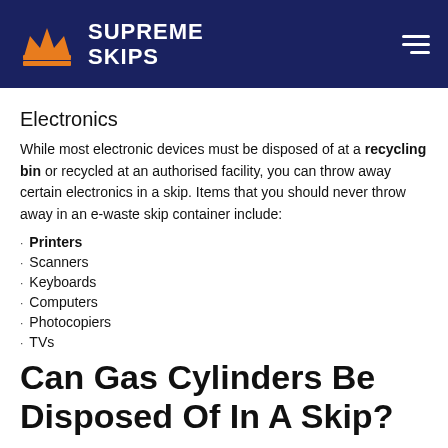SUPREME SKIPS
Electronics
While most electronic devices must be disposed of at a recycling bin or recycled at an authorised facility, you can throw away certain electronics in a skip. Items that you should never throw away in an e-waste skip container include:
Printers
Scanners
Keyboards
Computers
Photocopiers
TVs
Can Gas Cylinders Be Disposed Of In A Skip?